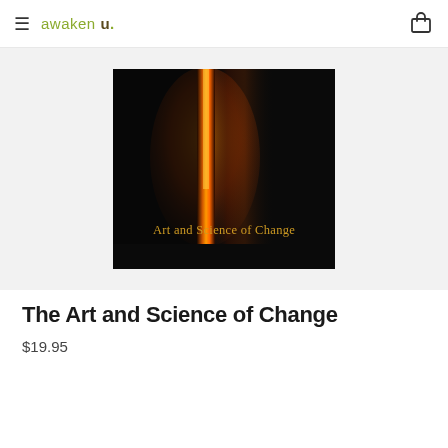≡ awaken u.
[Figure (photo): Book cover of 'Art and Science of Change' — dark/black background with a glowing orange vertical stripe of light (like a doorway ajar), text at bottom reads 'Art and Science of Change' in golden-yellow serif font.]
The Art and Science of Change
$19.95